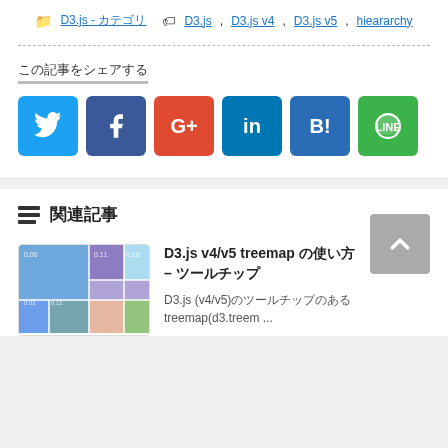D3.js - カテゴリ  D3.js, D3.js v4, D3.js v5, hieararchy
この記事をシェアする
[Figure (infographic): Social share buttons: Twitter (blue), Facebook (dark blue), Google+ (red), LinkedIn (blue), Hatena Bookmark (blue with B!), LINE (green)]
関連記事
[Figure (screenshot): Treemap thumbnail showing colored rectangles in blue, purple, orange, green]
D3.js v4/v5 treemap の使い方 – ツールチップ
D3.js (v4/v5)のツールチップのあるtreemap(d3.treem ...